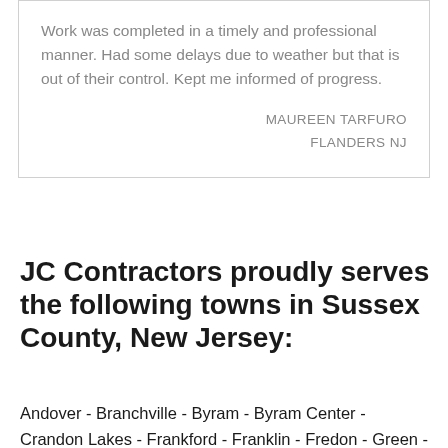Work was completed in a timely and professional manner. Had some delays due to weather but that is out of their control. Kept me informed of progress.
MAUREEN TARFURO
FLANDERS NJ
JC Contractors proudly serves the following towns in Sussex County, New Jersey:
Andover - Branchville - Byram - Byram Center - Crandon Lakes - Frankford - Franklin - Fredon - Green - Hamburg